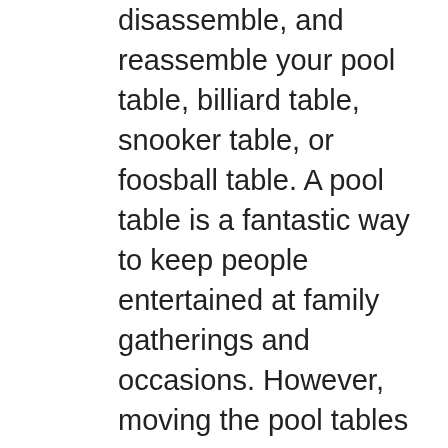disassemble, and reassemble your pool table, billiard table, snooker table, or foosball table. A pool table is a fantastic way to keep people entertained at family gatherings and occasions. However, moving the pool tables is not an easy task and many pool tables get damaged by poorly planned movements. After all, many pool table owners decide to solve the problem on their own when moving tables. However, this is not an easy task and we recommend that you use a professional billiard table moving tool to ensure maximum safety and prevent damage to the table. Through Helpire you can connect with an expert equipment installation handyman who can move and assemble quickly at home or at work, with expert precision. Because pool tables are large and heavy, improper disposal can cause devastating damage to both the table and the property. The floor could be scratched or worse, and someone could be injured. Also,